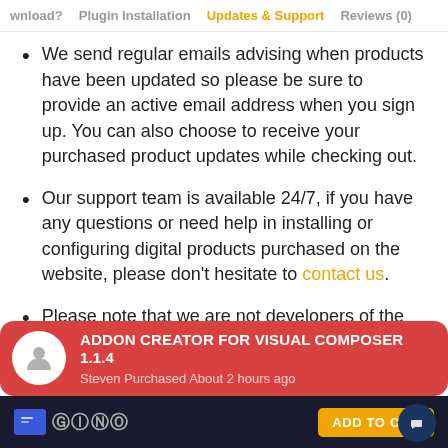wnload?   Plugin Installation   Updates & Support   Reviews (0)
We send regular emails advising when products have been updated so please be sure to provide an active email address when you sign up. You can also choose to receive your purchased product updates while checking out.
Our support team is available 24/7, if you have any questions or need help in installing or configuring digital products purchased on the website, please don’t hesitate to contact us.
Please note that we are not developers of the provided
[Figure (infographic): Red notification banner showing ADDON CREATOR FOR VISUAL COMPOSER 1.1.4, Steven Purchased About 2 hours ago, with white user icon circle on left]
[Figure (screenshot): Dark bottom navigation bar with blue icon, price text, ADD TO CART yellow button, and dark blue chat bubble icon]